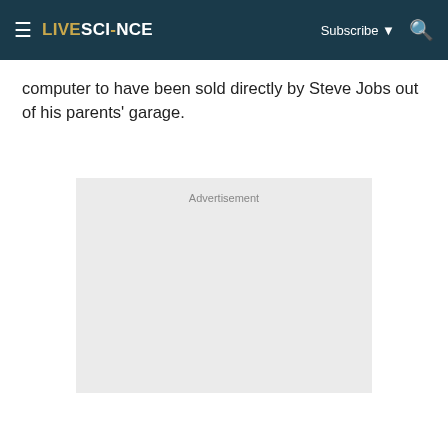LIVESCIENCE — Subscribe ▼ 🔍
computer to have been sold directly by Steve Jobs out of his parents' garage.
[Figure (other): Advertisement placeholder box with light gray background and 'Advertisement' label at top center]